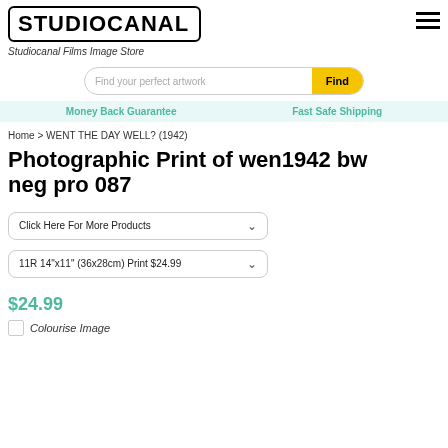[Figure (logo): Studiocanal logo in bold black text inside a rounded rectangle border]
Studiocanal Films Image Store
[Figure (other): Search bar with placeholder 'Find your perfect artwork' and yellow 'Find' button]
Money Back Guarantee     Fast Safe Shipping
Home > WENT THE DAY WELL? (1942)
Photographic Print of wen1942 bw neg pro 087
[Figure (other): Dropdown selector: Click Here For More Products]
[Figure (other): Dropdown selector: 11R 14"x11" (36x28cm) Print $24.99]
$24.99
Colourise Image